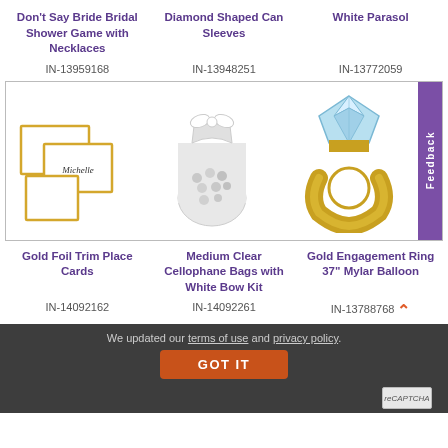Don't Say Bride Bridal Shower Game with Necklaces
Diamond Shaped Can Sleeves
White Parasol
IN-13959168
IN-13948251
IN-13772059
[Figure (photo): Three gold foil trim place cards, two blank and one with cursive writing, arranged on white background]
[Figure (photo): A clear cellophane bag filled with white/silver candy-coated items, tied with a white ribbon bow]
[Figure (photo): A gold engagement ring shaped Mylar balloon with a large diamond-shaped blue/white top]
Gold Foil Trim Place Cards
Medium Clear Cellophane Bags with White Bow Kit
Gold Engagement Ring 37" Mylar Balloon
IN-14092162
IN-14092261
IN-13788768
We updated our terms of use and privacy policy.
GOT IT